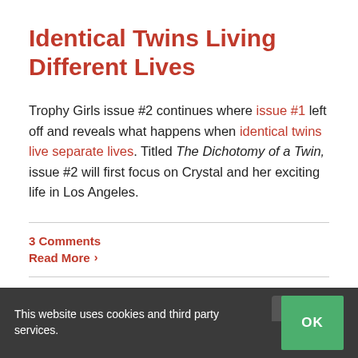Identical Twins Living Different Lives
Trophy Girls issue #2 continues where issue #1 left off and reveals what happens when identical twins live separate lives. Titled The Dichotomy of a Twin, issue #2 will first focus on Crystal and her exciting life in Los Angeles.
3 Comments
Read More ›
This website uses cookies and third party services.